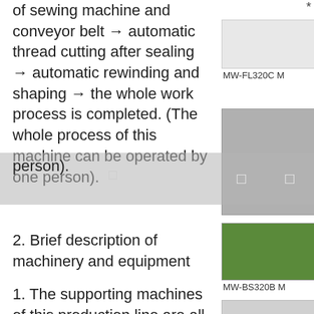of sewing machine and conveyor belt → automatic thread cutting after sealing → automatic rewinding and shaping → the whole work process is completed. (The whole process of this machine can be operated by one person).
[Figure (photo): MW-FL320C M product photo - industrial machine controller]
[Figure (photo): Industrial machine/controller photo on right side]
[Figure (photo): MW-BS320B M product photo - circuit board/electronic component]
2. Brief description of machinery and equipment
1. The supporting machines of this production line are all